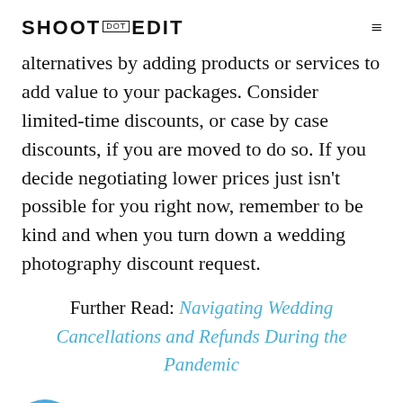SHOOT DOT EDIT
alternatives by adding products or services to add value to your packages. Consider limited-time discounts, or case by case discounts, if you are moved to do so. If you decide negotiating lower prices just isn't possible for you right now, remember to be kind and when you turn down a wedding photography discount request.
Further Read: Navigating Wedding Cancellations and Refunds During the Pandemic
ootDotEdit, we empower pro photographers to focus on their business and